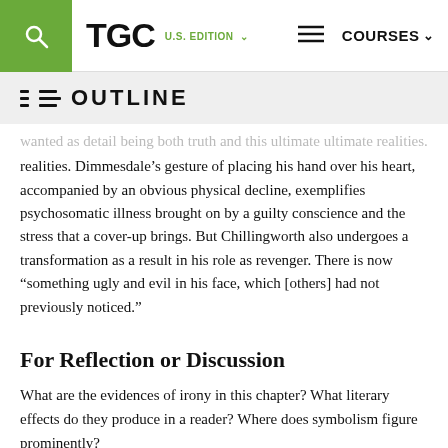TGC U.S. EDITION | COURSES
OUTLINE
...wanted as detail being both truth and this ultimate ultimate realities. Dimmesdale’s gesture of placing his hand over his heart, accompanied by an obvious physical decline, exemplifies psychosomatic illness brought on by a guilty conscience and the stress that a cover-up brings. But Chillingworth also undergoes a transformation as a result in his role as revenger. There is now “something ugly and evil in his face, which [others] had not previously noticed.”
For Reflection or Discussion
What are the evidences of irony in this chapter? What literary effects do they produce in a reader? Where does symbolism figure prominently?